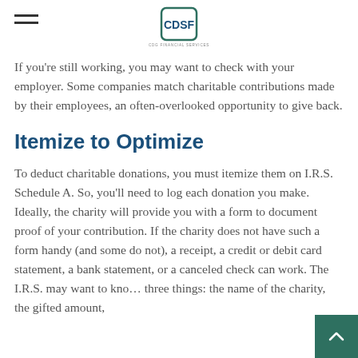CDSF – CDG Financial Services
If you're still working, you may want to check with your employer. Some companies match charitable contributions made by their employees, an often-overlooked opportunity to give back.
Itemize to Optimize
To deduct charitable donations, you must itemize them on I.R.S. Schedule A. So, you'll need to log each donation you make. Ideally, the charity will provide you with a form to document proof of your contribution. If the charity does not have such a form handy (and some do not), a receipt, a credit or debit card statement, a bank statement, or a canceled check can work. The I.R.S. may want to know three things: the name of the charity, the gifted amount,